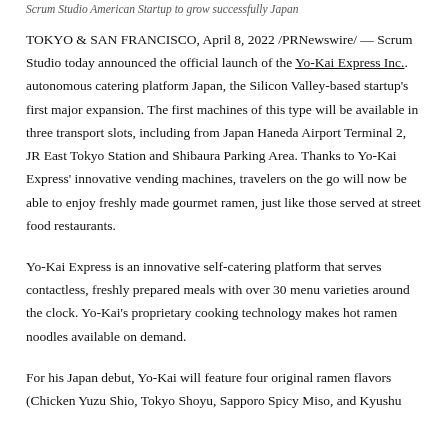Scrum Studio American Startup to grow successfully Japan
TOKYO & SAN FRANCISCO, April 8, 2022 /PRNewswire/ — Scrum Studio today announced the official launch of the Yo-Kai Express Inc.. autonomous catering platform Japan, the Silicon Valley-based startup's first major expansion. The first machines of this type will be available in three transport slots, including from Japan Haneda Airport Terminal 2, JR East Tokyo Station and Shibaura Parking Area. Thanks to Yo-Kai Express' innovative vending machines, travelers on the go will now be able to enjoy freshly made gourmet ramen, just like those served at street food restaurants.
Yo-Kai Express is an innovative self-catering platform that serves contactless, freshly prepared meals with over 30 menu varieties around the clock. Yo-Kai's proprietary cooking technology makes hot ramen noodles available on demand.
For his Japan debut, Yo-Kai will feature four original ramen flavors (Chicken Yuzu Shio, Tokyo Shoyu, Sapporo Spicy Miso, and Kyushu